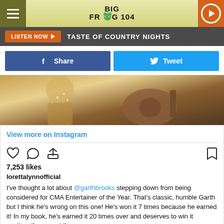Big Frog 104
LISTEN NOW  TASTE OF COUNTRY NIGHTS
Share  Tweet
[Figure (photo): Concert photo of performer in sparkly gold outfit playing guitar on stage]
View more on Instagram
7,253 likes
lorettalynnofficial
I've thought a lot about @garthbrooks stepping down from being considered for CMA Entertainer of the Year. That's classic, humble Garth but I think he's wrong on this one! He's won it 7 times because he earned it! In my book, he's earned it 20 times over and deserves to win it anytime they count the